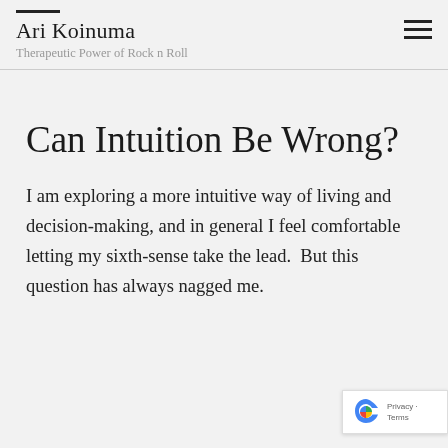Ari Koinuma
Therapeutic Power of Rock n Roll
Can Intuition Be Wrong?
I am exploring a more intuitive way of living and decision-making, and in general I feel comfortable letting my sixth-sense take the lead.  But this question has always nagged me.